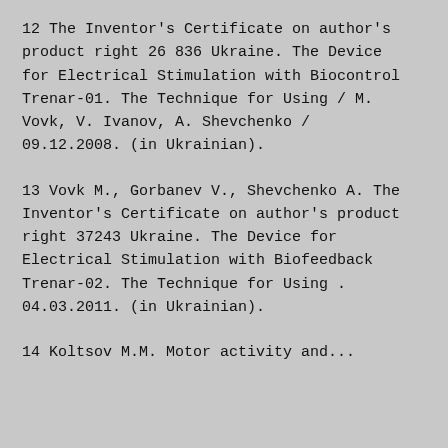12 The Inventor's Certificate on author's product right 26 836 Ukraine. The Device for Electrical Stimulation with Biocontrol Trenar-01. The Technique for Using / M. Vovk, V. Ivanov, A. Shevchenko / 09.12.2008. (in Ukrainian).
13 Vovk M., Gorbanev V., Shevchenko A. The Inventor's Certificate on author's product right 37243 Ukraine. The Device for Electrical Stimulation with Biofeedback Trenar-02. The Technique for Using . 04.03.2011. (in Ukrainian).
14 Koltsov M.M. ...